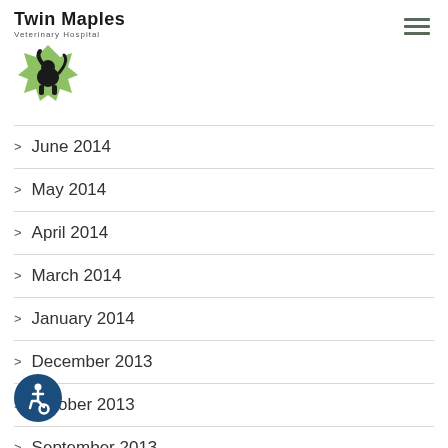[Figure (logo): Twin Maples Veterinary Hospital logo with dog silhouette on green maple leaf background]
> June 2014
> May 2014
> April 2014
> March 2014
> January 2014
> December 2013
> October 2013
> September 2013
[Figure (illustration): Accessibility icon button (wheelchair symbol) in dark blue circle at bottom left]